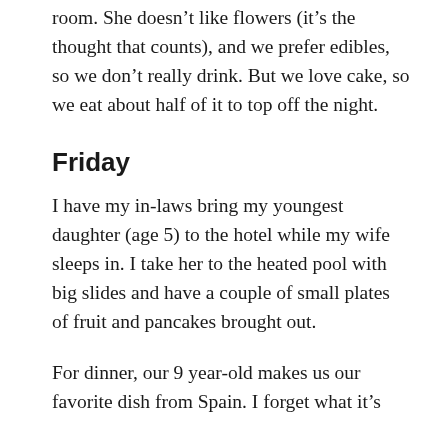room. She doesn't like flowers (it's the thought that counts), and we prefer edibles, so we don't really drink. But we love cake, so we eat about half of it to top off the night.
Friday
I have my in-laws bring my youngest daughter (age 5) to the hotel while my wife sleeps in. I take her to the heated pool with big slides and have a couple of small plates of fruit and pancakes brought out.
For dinner, our 9 year-old makes us our favorite dish from Spain. I forget what it's